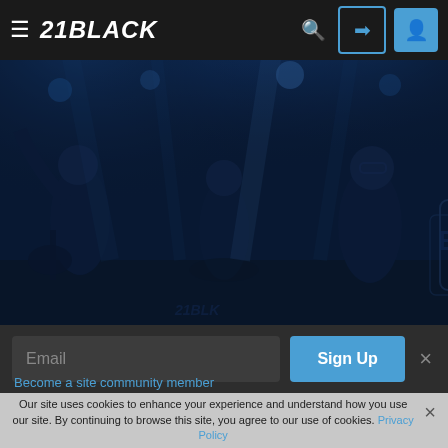[Figure (screenshot): Navigation bar with hamburger menu, 21BLACK logo, search icon, login button, and user profile button on dark background]
[Figure (photo): Band performing live on stage with blue stage lighting, multiple musicians including guitarist and vocalist, banner reading BWTC in background]
Email
Sign Up
Become a site community member
Our site uses cookies to enhance your experience and understand how you use our site. By continuing to browse this site, you agree to our use of cookies. Privacy Policy